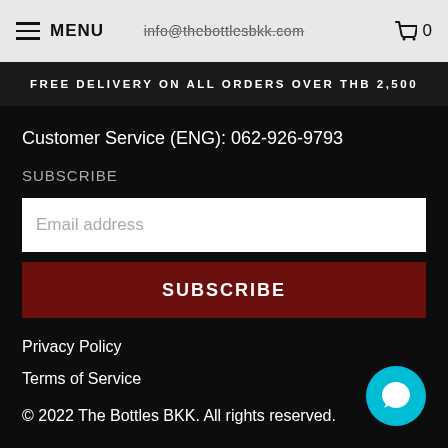MENU   info@thebottlesbkk.com   0
FREE DELIVERY ON ALL ORDERS OVER THB 2,500
Customer Service (ENG): 062-926-9793
SUBSCRIBE
Email address
SUBSCRIBE
Privacy Policy
Terms of Service
© 2022 The Bottles BKK. All rights reserved.